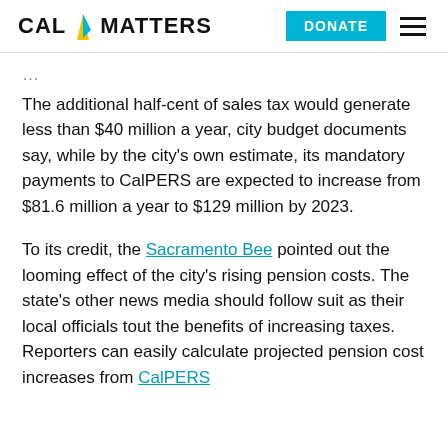CAL MATTERS | DONATE
The additional half-cent of sales tax would generate less than $40 million a year, city budget documents say, while by the city's own estimate, its mandatory payments to CalPERS are expected to increase from $81.6 million a year to $129 million by 2023.
To its credit, the Sacramento Bee pointed out the looming effect of the city's rising pension costs. The state's other news media should follow suit as their local officials tout the benefits of increasing taxes. Reporters can easily calculate projected pension cost increases from CalPERS